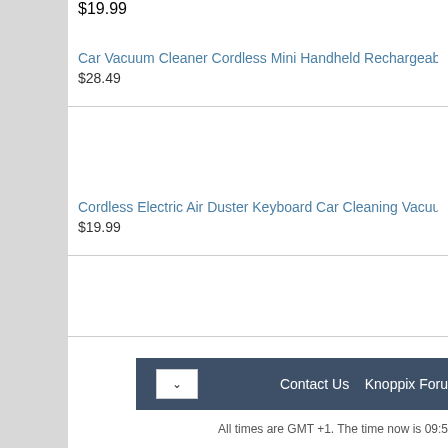$19.99
Car Vacuum Cleaner Cordless Mini Handheld Rechargeable Portable
$28.49
Cordless Electric Air Duster Keyboard Car Cleaning Vacuum Rechar
$19.99
Contact Us   Knoppix Foru
All times are GMT +1. The time now is 09:5